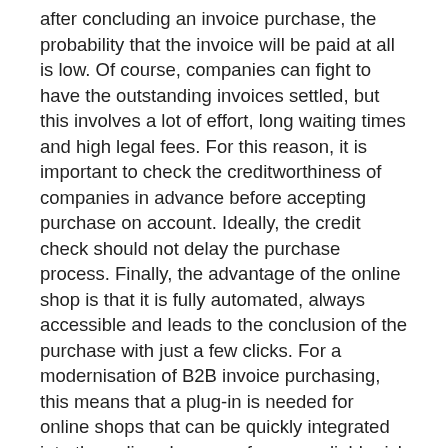after concluding an invoice purchase, the probability that the invoice will be paid at all is low. Of course, companies can fight to have the outstanding invoices settled, but this involves a lot of effort, long waiting times and high legal fees. For this reason, it is important to check the creditworthiness of companies in advance before accepting purchase on account. Ideally, the credit check should not delay the purchase process. Finally, the advantage of the online shop is that it is fully automated, always accessible and leads to the conclusion of the purchase with just a few clicks. For a modernisation of B2B invoice purchasing, this means that a plug-in is needed for online shops that can be quickly integrated into the online shops, performs a reliable risk check, works quickly and is fully automated. So for both private trade and business relationships, extreme effort is required these days.